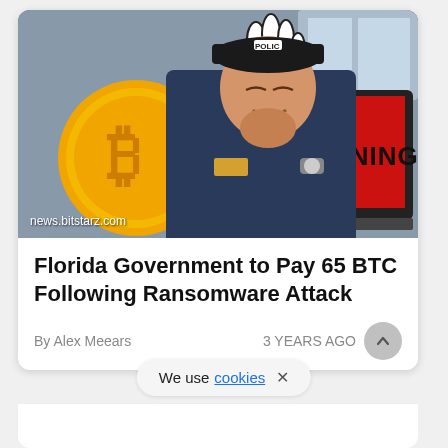[Figure (photo): Illustrated news article thumbnail showing a man in a police uniform and cap eating something, with a Bitcoin coin graphic on the left, a cartoon hand gesture, and a red laptop screen displaying 'WARNING!' text. Watermark: news.bitstarz.com]
Florida Government to Pay 65 BTC Following Ransomware Attack
By Alex Meears    3 YEARS AGO
We use cookies ×